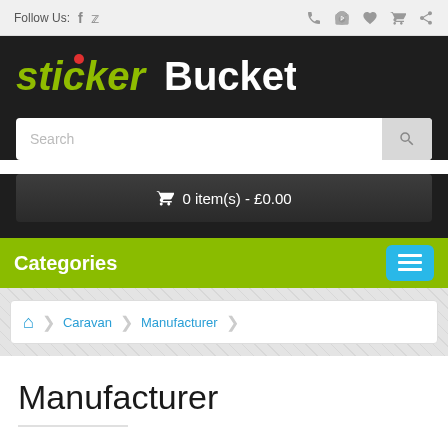Follow Us: f  ♦  🔔  🛒  ↩
[Figure (logo): Sticker Bucket logo — 'sticker' in green italic bold with red dot, 'Bucket' in white bold, on dark background]
Search
🛒 0 item(s) - £0.00
Categories
🏠  Caravan  Manufacturer
Manufacturer